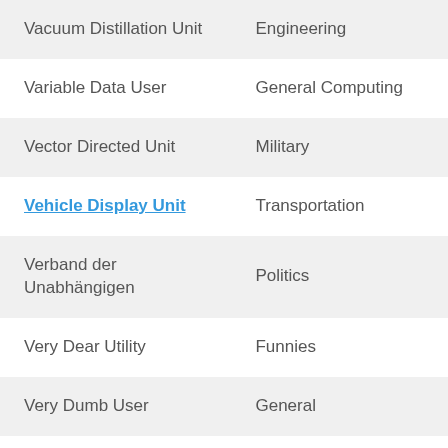| Term | Category |
| --- | --- |
| Vacuum Distillation Unit | Engineering |
| Variable Data User | General Computing |
| Vector Directed Unit | Military |
| Vehicle Display Unit | Transportation |
| Verband der Unabhängigen | Politics |
| Very Dear Utility | Funnies |
| Very Dumb User | General |
| Video Diode Unit | General |
| Video Display Unit | Hardware |